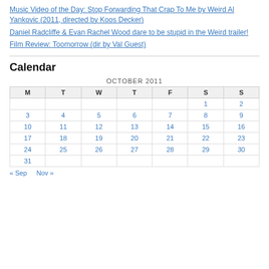Music Video of the Day: Stop Forwarding That Crap To Me by Weird Al Yankovic (2011, directed by Koos Decker)
Daniel Radcliffe & Evan Rachel Wood dare to be stupid in the Weird trailer!
Film Review: Toomorrow (dir by Val Guest)
Calendar
| M | T | W | T | F | S | S |
| --- | --- | --- | --- | --- | --- | --- |
|  |  |  |  |  | 1 | 2 |
| 3 | 4 | 5 | 6 | 7 | 8 | 9 |
| 10 | 11 | 12 | 13 | 14 | 15 | 16 |
| 17 | 18 | 19 | 20 | 21 | 22 | 23 |
| 24 | 25 | 26 | 27 | 28 | 29 | 30 |
| 31 |  |  |  |  |  |  |
« Sep   Nov »